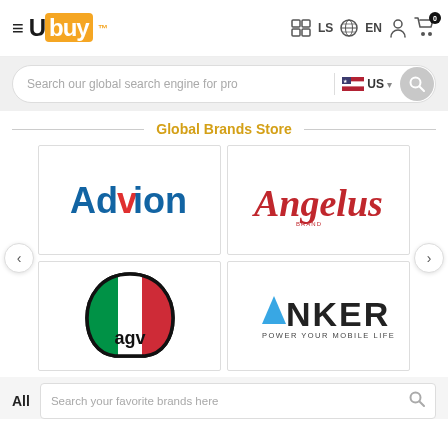[Figure (screenshot): Ubuy e-commerce website header with hamburger menu, Ubuy logo, LS region selector, EN language selector, user icon, and cart icon with badge showing 0]
[Figure (screenshot): Search bar with placeholder text 'Search our global search engine for pro', US flag country selector with dropdown chevron, and circular search button]
Global Brands Store
[Figure (logo): Advion brand logo in blue bold sans-serif font]
[Figure (logo): Angelus brand logo in red script/cursive font]
[Figure (logo): AGV motorcycle helmet logo with Italian flag helmet graphic and 'agv' text]
[Figure (logo): ANKER logo with blue triangle accent and tagline 'POWER YOUR MOBILE LIFE']
All
Search your favorite brands here